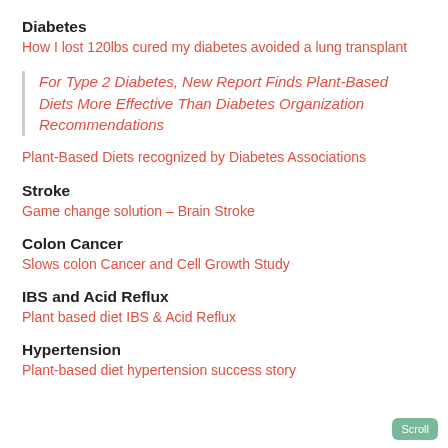Diabetes
How I lost 120lbs cured my diabetes avoided a lung transplant
For Type 2 Diabetes, New Report Finds Plant-Based Diets More Effective Than Diabetes Organization Recommendations
Plant-Based Diets recognized by Diabetes Associations
Stroke
Game change solution – Brain Stroke
Colon Cancer
Slows colon Cancer and Cell Growth Study
IBS and Acid Reflux
Plant based diet IBS & Acid Reflux
Hypertension
Plant-based diet hypertension success story